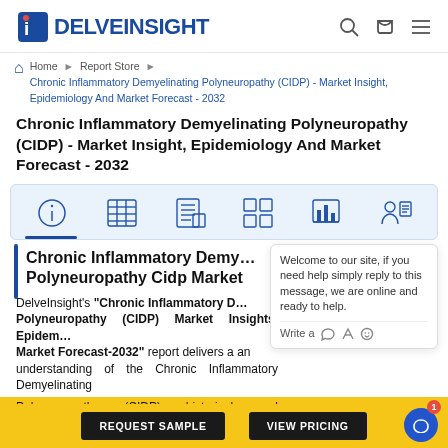[Figure (logo): DelveInsight logo with blue 'i' icon and company name]
Home › Report Store › Chronic Inflammatory Demyelinating Polyneuropathy (CIDP) - Market Insight, Epidemiology And Market Forecast - 2032
Chronic Inflammatory Demyelinating Polyneuropathy (CIDP) - Market Insight, Epidemiology And Market Forecast - 2032
[Figure (infographic): Tab icon bar with six icons: info, table, document list, data grid, bar chart, person with document. Blue underline on first tab.]
Chronic Inflammatory Demyelinating Polyneuropathy Cidp Market
DelveInsight's "Chronic Inflammatory Demyelinating Polyneuropathy (CIDP) Market Insights, Epidemiology And Market Forecast-2032" report delivers a an understanding of the Chronic Inflammatory Demyelinating Polyneuropathy (CIDP) historical and epidemiology as well as the Chronic Inflammatory Demyelinating Polyneuropathy (CIDP)